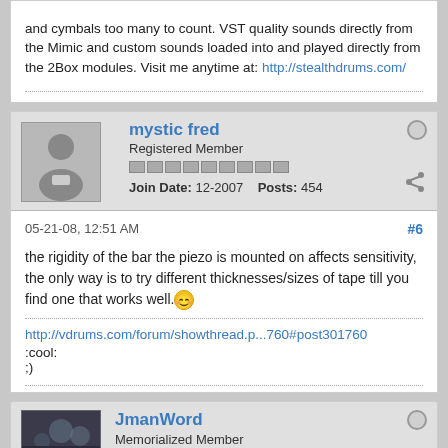and cymbals too many to count. VST quality sounds directly from the Mimic and custom sounds loaded into and played directly from the 2Box modules. Visit me anytime at: http://stealthdrums.com/
[Figure (other): User avatar placeholder (gray silhouette)]
mystic fred
Registered Member
Join Date: 12-2007  Posts: 454
05-21-08, 12:51 AM  #6
the rigidity of the bar the piezo is mounted on affects sensitivity, the only way is to try different thicknesses/sizes of tape till you find one that works well. :)
http://vdrums.com/forum/showthread.p...760#post301760
:cool:
;)
[Figure (photo): JmanWord user avatar photo]
JmanWord
Memorialized Member